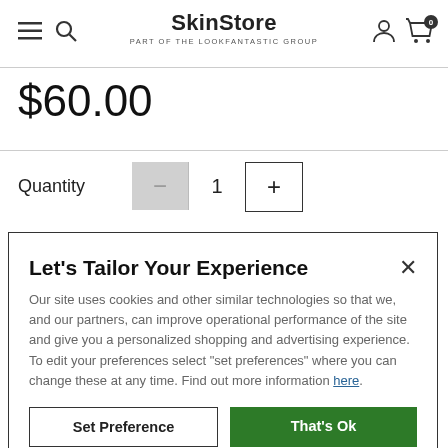SkinStore – part of the LOOKFANTASTIC group
$60.00
Quantity  1
Let's Tailor Your Experience
Our site uses cookies and other similar technologies so that we, and our partners, can improve operational performance of the site and give you a personalized shopping and advertising experience. To edit your preferences select "set preferences" where you can change these at any time. Find out more information here.